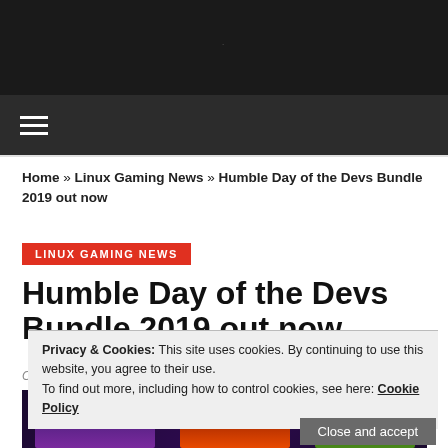≡
Home » Linux Gaming News » Humble Day of the Devs Bundle 2019 out now
LINUX GAMING NEWS
Humble Day of the Devs Bundle 2019 out now
October 30, 2019 6:30 pm. By Todd B.
[Figure (screenshot): Game bundle promotional image with colorful game artwork]
Privacy & Cookies: This site uses cookies. By continuing to use this website, you agree to their use.
To find out more, including how to control cookies, see here: Cookie Policy
Close and accept